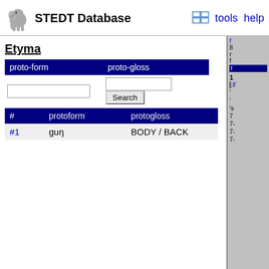STEDT Database  tools  help
Etyma
| proto-form | proto-gloss |
| --- | --- |
| (search input) | (search input, Search button) |
| # | protoform | protogloss |
| --- | --- | --- |
| #1 | guŋ | BODY / BACK |